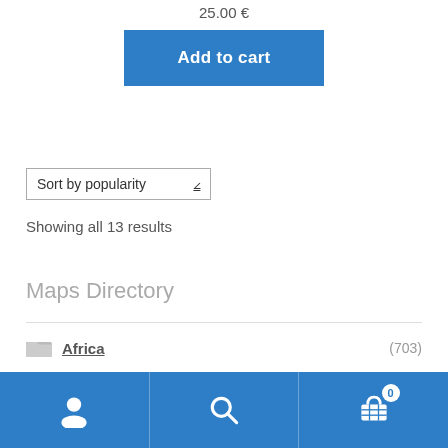25.00 €
Add to cart
Sort by popularity
Showing all 13 results
Maps Directory
Africa (703)
America (601)